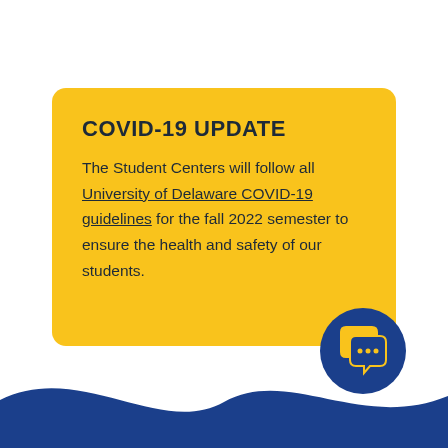COVID-19 UPDATE
The Student Centers will follow all University of Delaware COVID-19 guidelines for the fall 2022 semester to ensure the health and safety of our students.
[Figure (illustration): Dark blue circular icon containing two overlapping speech bubbles — one yellow and one dark blue with three dots (ellipsis), representing a chat/messaging interface.]